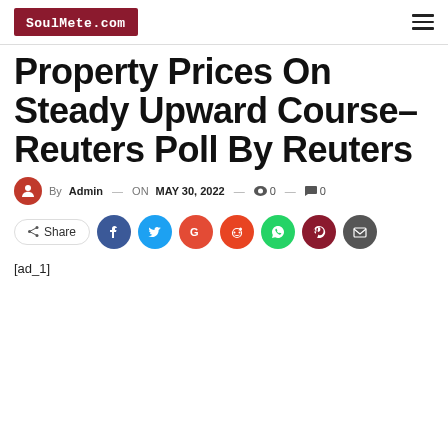SoulMete.com
Property Prices On Steady Upward Course- Reuters Poll By Reuters
By Admin — ON MAY 30, 2022 — 0 — 0
Share [social icons: Facebook, Twitter, Google, Reddit, WhatsApp, Pinterest, Email]
[ad_1]